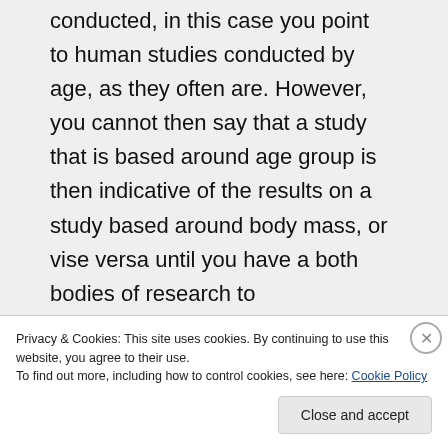conducted, in this case you point to human studies conducted by age, as they often are. However, you cannot then say that a study that is based around age group is then indicative of the results on a study based around body mass, or vise versa until you have a both bodies of research to
Privacy & Cookies: This site uses cookies. By continuing to use this website, you agree to their use.
To find out more, including how to control cookies, see here: Cookie Policy